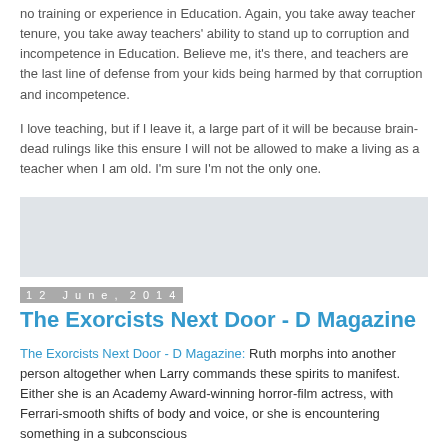no training or experience in Education. Again, you take away teacher tenure, you take away teachers' ability to stand up to corruption and incompetence in Education. Believe me, it's there, and teachers are the last line of defense from your kids being harmed by that corruption and incompetence.
I love teaching, but if I leave it, a large part of it will be because brain-dead rulings like this ensure I will not be allowed to make a living as a teacher when I am old. I'm sure I'm not the only one.
[Figure (other): Gray placeholder image box]
12 June, 2014
The Exorcists Next Door - D Magazine
The Exorcists Next Door - D Magazine: Ruth morphs into another person altogether when Larry commands these spirits to manifest. Either she is an Academy Award-winning horror-film actress, with Ferrari-smooth shifts of body and voice, or she is encountering something in a subconscious